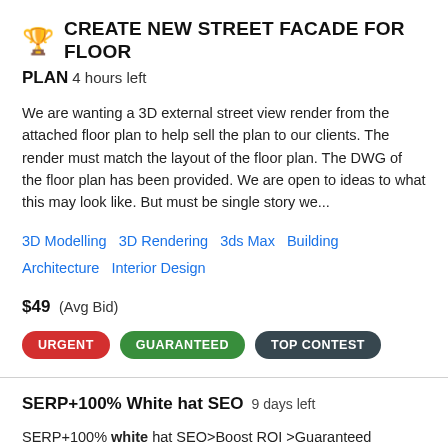CREATE NEW STREET FACADE FOR FLOOR
PLAN  4 hours left
We are wanting a 3D external street view render from the attached floor plan to help sell the plan to our clients. The render must match the layout of the floor plan. The DWG of the floor plan has been provided. We are open to ideas to what this may look like. But must be single story we...
3D Modelling   3D Rendering   3ds Max   Building Architecture   Interior Design
$49  (Avg Bid)
URGENT   GUARANTEED   TOP CONTEST
SERP+100% White hat SEO  9 days left
SERP+100% white hat SEO>Boost ROI >Guaranteed Organic Traffic